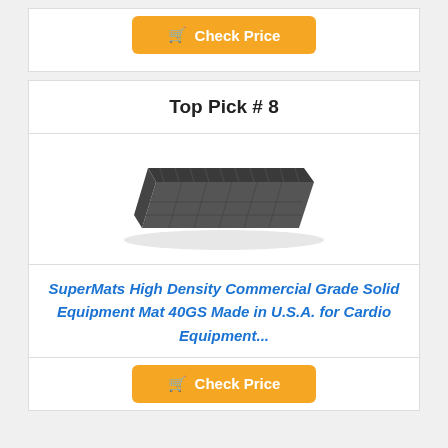[Figure (other): Check Price button with shopping cart icon, orange background, white text]
Top Pick # 8
[Figure (photo): SuperMats High Density Commercial Grade Solid Equipment Mat, dark gray rubber mat shown in perspective view]
SuperMats High Density Commercial Grade Solid Equipment Mat 40GS Made in U.S.A. for Cardio Equipment...
[Figure (other): Check Price button with shopping cart icon, orange background, white text]